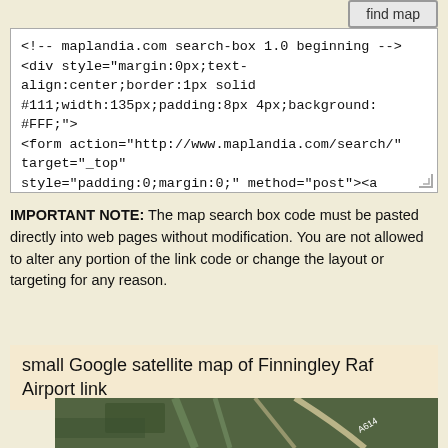find map
<!-- maplandia.com search-box 1.0 beginning -->
<div style="margin:0px;text-align:center;border:1px solid #111;width:135px;padding:8px 4px;background: #FFF;">
<form action="http://www.maplandia.com/search/" target="_top"
style="padding:0;margin:0;" method="post"><a
IMPORTANT NOTE: The map search box code must be pasted directly into web pages without modification. You are not allowed to alter any portion of the link code or change the layout or targeting for any reason.
small Google satellite map of Finningley Raf Airport link
[Figure (photo): Satellite aerial view of Finningley Raf Airport area showing fields, runways and road A614]